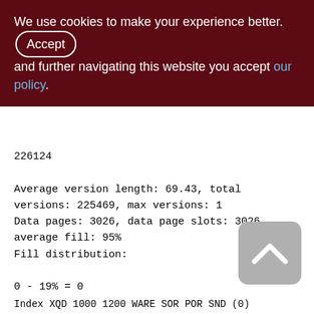We use cookies to make your experience better. By accepting and further navigating this website you accept our policy.
226124
Average version length: 69.43, total versions: 225469, max versions: 1
Data pages: 3026, data page slots: 3026, average fill: 95%
Fill distribution:
0 - 19% = 0
20 - 39% = 1
40 - 59% = 0
60 - 79% = 3
80 - 99% = 3022
Index XQD 1000 1200 WARE SOR POR SND (0)